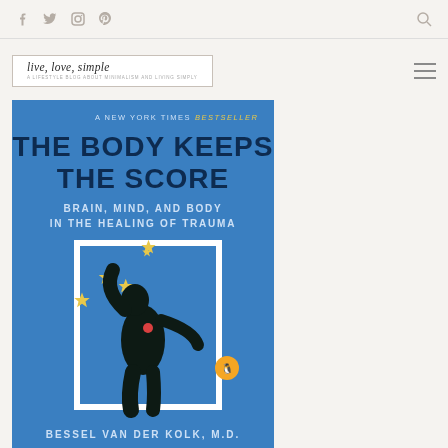[Figure (screenshot): Website navigation bar with social media icons (Facebook, Twitter, Instagram, Pinterest) and search icon on a beige background]
[Figure (logo): live, love, simple blog logo in a white bordered box with italic script text]
[Figure (photo): Book cover of 'The Body Keeps the Score: Brain, Mind, and Body in the Healing of Trauma' by Bessel van der Kolk M.D. Blue cover with black silhouette figure and yellow star shapes, Penguin Books publisher logo]